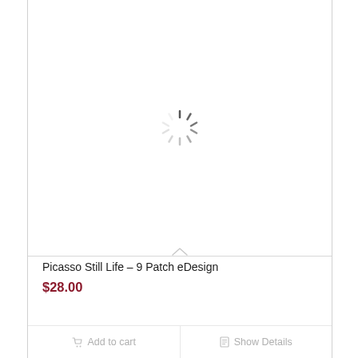[Figure (other): Loading spinner (spinning wheel/radial lines icon) centered in product image area]
Picasso Still Life – 9 Patch eDesign
$28.00
Add to cart
Show Details